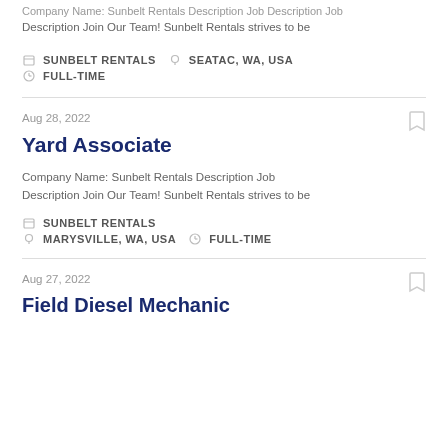Company Name: Sunbelt Rentals Description Job Description Join Our Team! Sunbelt Rentals strives to be
SUNBELT RENTALS   SEATAC, WA, USA   FULL-TIME
Aug 28, 2022
Yard Associate
Company Name: Sunbelt Rentals Description Job Description Join Our Team! Sunbelt Rentals strives to be
SUNBELT RENTALS   MARYSVILLE, WA, USA   FULL-TIME
Aug 27, 2022
Field Diesel Mechanic